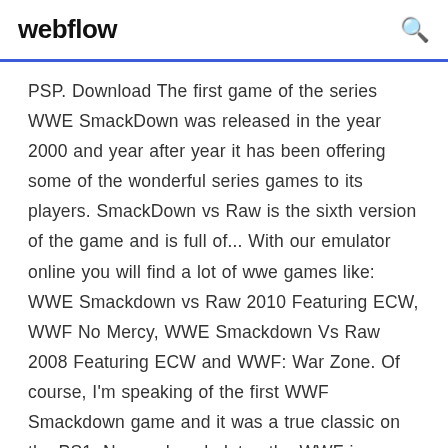webflow
PSP. Download The first game of the series WWE SmackDown was released in the year 2000 and year after year it has been offering some of the wonderful series games to its players. SmackDown vs Raw is the sixth version of the game and is full of... With our emulator online you will find a lot of wwe games like: WWE Smackdown vs Raw 2010 Featuring ECW, WWF No Mercy, WWE Smackdown Vs Raw 2008 Featuring ECW and WWF: War Zone. Of course, I'm speaking of the first WWF Smackdown game and it was a true classic on the PS1. Now a decade later, the WWF is now the WWE, and the Smackdown Franchise's newest game is Smackdown Vs Raw 2010. Download. Arcade